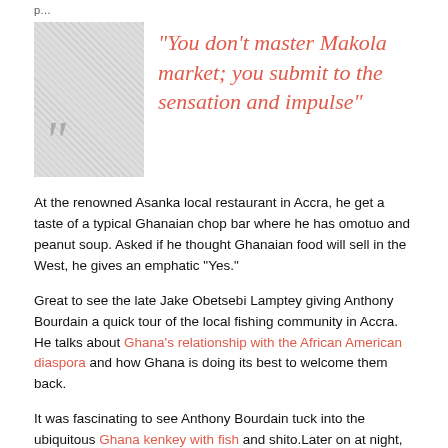p...
[Figure (illustration): Decorative hatched/crosshatch square image with large quotation mark overlay]
“You don’t master Makola market; you submit to the sensation and impulse”
At the renowned Asanka local restaurant in Accra, he get a taste of a typical Ghanaian chop bar where he has omotuo and peanut soup. Asked if he thought Ghanaian food will sell in the West, he gives an emphatic “Yes.”
Great to see the late Jake Obetsebi Lamptey giving Anthony Bourdain a quick tour of the local fishing community in Accra. He talks about Ghana’s relationship with the African American diaspora and how Ghana is doing its best to welcome them back.
It was fascinating to see Anthony Bourdain tuck into the ubiquitous Ghana kenkey with fish and shito.Later on at night, at the Osu night market, he